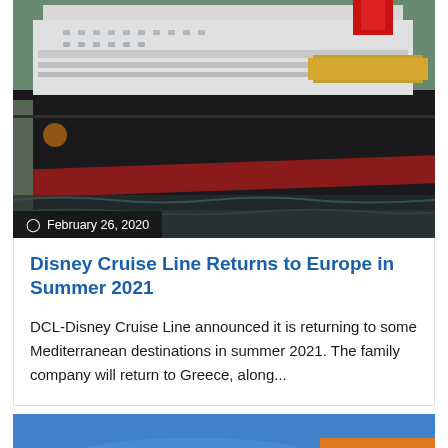[Figure (photo): Disney Cruise Line ship docked at port, large white and black cruise ship with red hull, photographed from the dock at water level]
February 26, 2020
Disney Cruise Line Returns to Europe in Summer 2021
DCL-Disney Cruise Line announced it is returning to some Mediterranean destinations in summer 2021. The family company will return to Greece, along...
[Figure (photo): Partial blue image at bottom of page with orange Cruise Industry tag label]